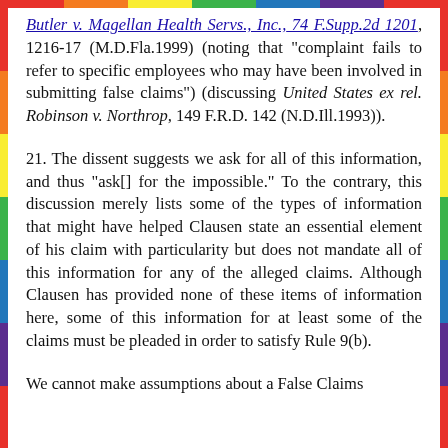Butler v. Magellan Health Servs., Inc., 74 F.Supp.2d 1201, 1216-17 (M.D.Fla.1999) (noting that "complaint fails to refer to specific employees who may have been involved in submitting false claims") (discussing United States ex rel. Robinson v. Northrop, 149 F.R.D. 142 (N.D.Ill.1993)).
21. The dissent suggests we ask for all of this information, and thus "ask[] for the impossible." To the contrary, this discussion merely lists some of the types of information that might have helped Clausen state an essential element of his claim with particularity but does not mandate all of this information for any of the alleged claims. Although Clausen has provided none of these items of information here, some of this information for at least some of the claims must be pleaded in order to satisfy Rule 9(b).
We cannot make assumptions about a False Claims